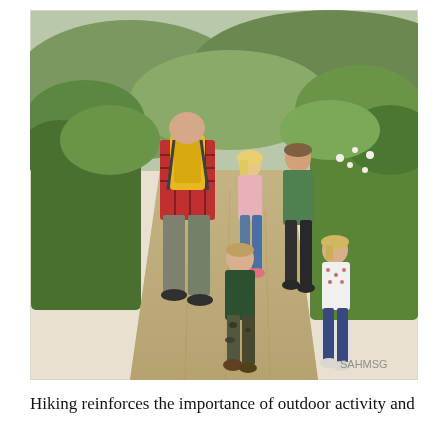[Figure (photo): A man with a yellow backpack wearing a red plaid shirt walks on a dirt trail with four young children (two girls and two boys) through a green hillside landscape. The watermark 'SAHMSG' appears in the lower right corner of the photo.]
Hiking reinforces the importance of outdoor activity and